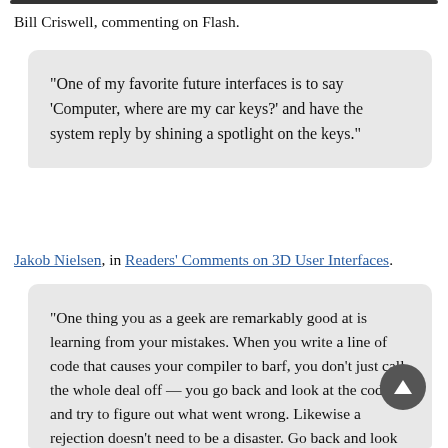Bill Criswell, commenting on Flash.
"One of my favorite future interfaces is to say ‘Computer, where are my car keys?’ and have the system reply by shining a spotlight on the keys."
Jakob Nielsen, in Readers' Comments on 3D User Interfaces.
"One thing you as a geek are remarkably good at is learning from your mistakes. When you write a line of code that causes your compiler to barf, you don't just call the whole deal off — you go back and look at the code and try to figure out what went wrong. Likewise a rejection doesn't need to be a disaster. Go back and look at what happened with a view to making it better next time. Chances are your next woo-pitching expedition